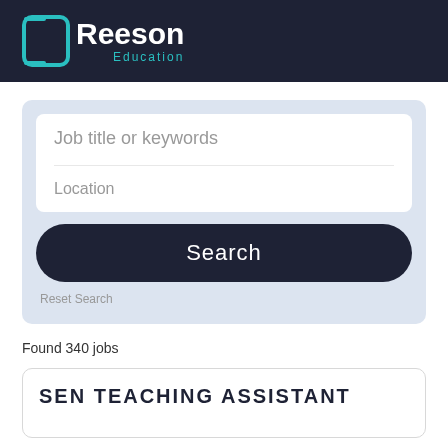[Figure (logo): Reeson Education logo — white bracket icon with 'Reeson' in bold white and 'Education' in teal, on dark navy background]
Job title or keywords
Location
Search
Reset Search
Found 340 jobs
SEN TEACHING ASSISTANT